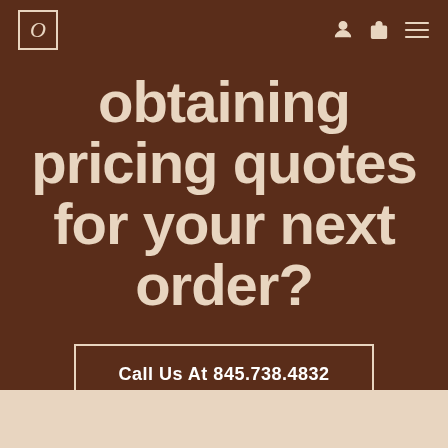[Figure (logo): Italicized O letter inside a rectangular border — brand logo in top left]
obtaining pricing quotes for your next order?
Call Us At 845.738.4832